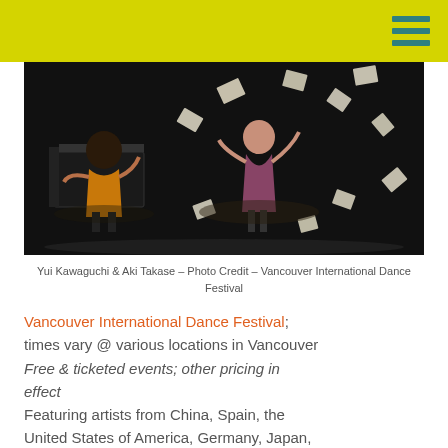[Figure (photo): Two performers on a dark stage — one seated at a piano on the left wearing a colorful dress, another standing center-right with papers/sheets flying through the air around them. Black background with dramatic stage lighting.]
Yui Kawaguchi & Aki Takase – Photo Credit – Vancouver International Dance Festival
Vancouver International Dance Festival; times vary @ various locations in Vancouver Free & ticketed events; other pricing in effect Featuring artists from China, Spain, the United States of America, Germany, Japan, and Canada performing diverse techniques and styles like butoh, hip hop, flamenco, ballet, and cutting edge contemporary dance. Experience three weeks of